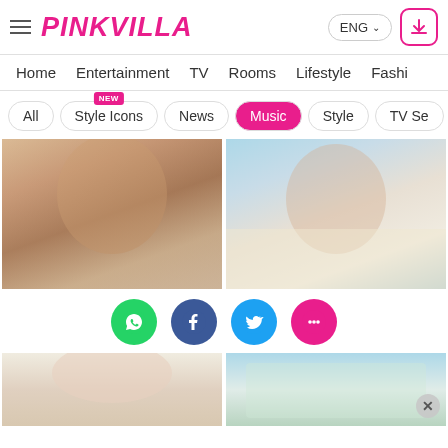PINKVILLA — ENG
Home | Entertainment | TV | Rooms | Lifestyle | Fashi...
All | Style Icons NEW | News | Music | Style | TV Se...
[Figure (photo): Two side-by-side portrait photos of a young woman with brown hair. Left: close-up face shot with earrings. Right: laughing shot in floral dress outdoors.]
[Figure (infographic): Social sharing icons row: WhatsApp (green), Facebook (blue), Twitter (light blue), More/chat (pink)]
[Figure (photo): Two side-by-side photos showing partial views: left shows white floral top, right shows floral dress.]